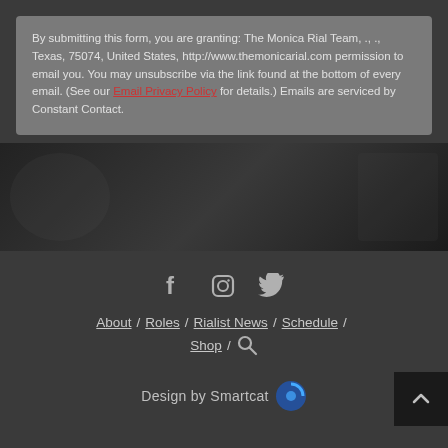By submitting this form, you are granting: The Monica Rial Team, ., ., Texas, 75074, United States, http://www.themonicarial.com permission to email you. You may unsubscribe via the link found at the bottom of every email. (See our Email Privacy Policy for details.) Emails are serviced by Constant Contact.
[Figure (photo): Dark background photo area with partially visible figures]
[Figure (infographic): Social media icons: Facebook, Instagram, Twitter]
About / Roles / Rialist News / Schedule / Shop / [search icon]
Design by Smartcat [Smartcat logo icon]